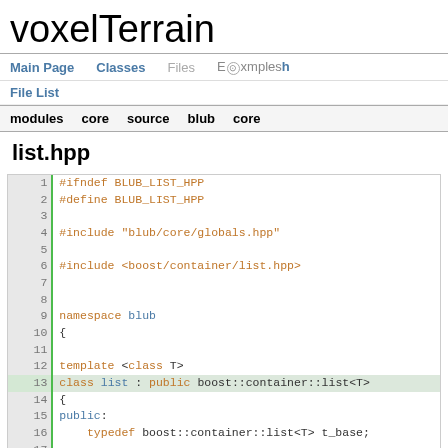voxelTerrain
Main Page   Classes   Files   Examples   File List
modules   core   source   blub   core
list.hpp
[Figure (screenshot): Source code listing of list.hpp showing lines 1-17, with C++ header guard, includes, namespace blub, and class list template inheriting from boost::container::list<T>]